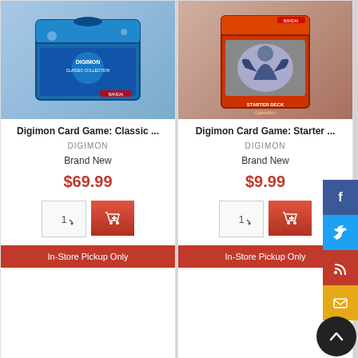[Figure (photo): Digimon Card Game Classic Collection booster box product image (blue box)]
Digimon Card Game: Classic ...
DIGIMON
Brand New
$69.99
In-Store Pickup Only
[Figure (photo): Digimon Card Game Starter Deck GallantMon product image]
Digimon Card Game: Starter ...
DIGIMON
Brand New
$9.99
In-Store Pickup Only
[Figure (photo): Digimon Card Game Essential Collection booster pack product image]
[Figure (logo): Digimon Card Game logo with Japanese text デジモンカードゲーム]